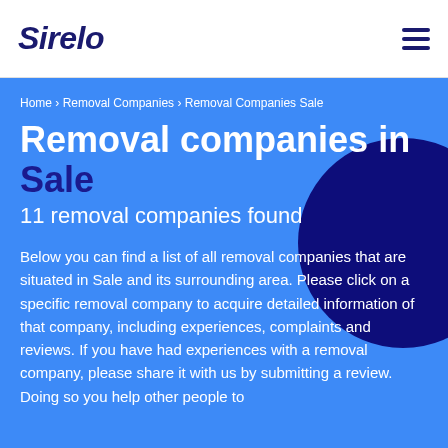Sirelo
Home › Removal Companies › Removal Companies Sale
Removal companies in Sale
11 removal companies found
Below you can find a list of all removal companies that are situated in Sale and its surrounding area. Please click on a specific removal company to acquire detailed information of that company, including experiences, complaints and reviews. If you have had experiences with a removal company, please share it with us by submitting a review. Doing so you help other people to